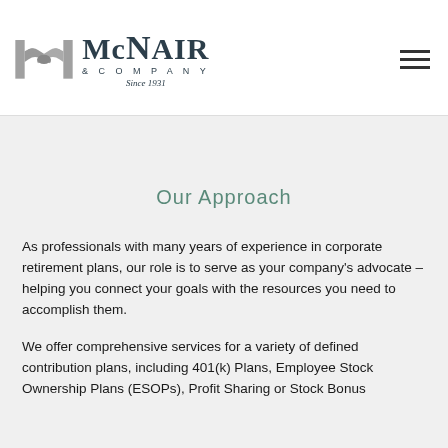[Figure (logo): McNair & Company logo with handshake icon, company name in serif font, '& COMPANY' in spaced caps, 'Since 1931' in italic]
Our Approach
As professionals with many years of experience in corporate retirement plans, our role is to serve as your company's advocate – helping you connect your goals with the resources you need to accomplish them.
We offer comprehensive services for a variety of defined contribution plans, including 401(k) Plans, Employee Stock Ownership Plans (ESOPs), Profit Sharing or Stock Bonus